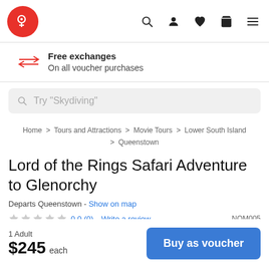Logo, Search, User, Wishlist, Cart, Menu navigation header
Free exchanges
On all voucher purchases
Try "Skydiving"
Home > Tours and Attractions > Movie Tours > Lower South Island > Queenstown
Lord of the Rings Safari Adventure to Glenorchy
Departs Queenstown - Show on map
0.0 (0)  Write a review  NOM005
1 Adult
$245 each
Buy as voucher